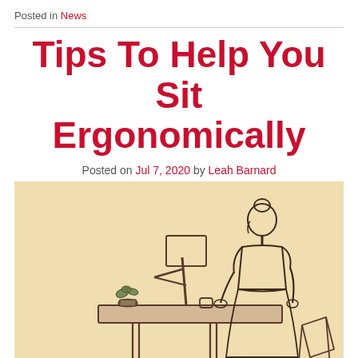Posted in News
Tips To Help You Sit Ergonomically
Posted on Jul 7, 2020 by Leah Barnard
[Figure (illustration): Pencil sketch illustration on a beige/cream background of a woman with hair in a bun standing at an adjustable standing desk, working on a computer monitor. There is a small plant and a cup on the desk. To the right is a drafting stool/chair. The desk appears to have adjustable legs.]